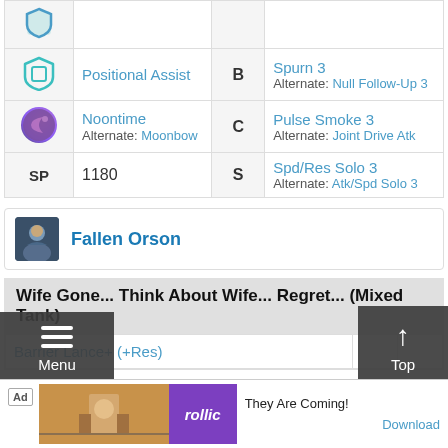| Icon | Skill | Grade | Effect |
| --- | --- | --- | --- |
| [shield icon] | Positional Assist | B | Spurn 3
Alternate: Null Follow-Up 3 |
| [moon icon] | Noontime
Alternate: Moonbow | C | Pulse Smoke 3
Alternate: Joint Drive Atk |
| SP | 1180 | S | Spd/Res Solo 3
Alternate: Atk/Spd Solo 3 |
Fallen Orson
Wife Gone... Think About Wife... Regret... (Mixed Tank)
Barrier Lance+ (+Res)